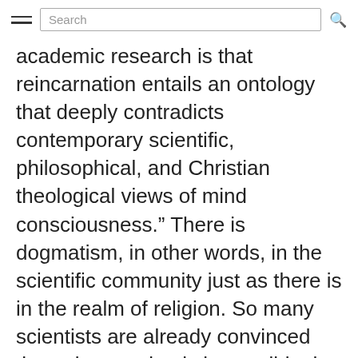Search
academic research is that reincarnation entails an ontology that deeply contradicts contemporary scientific, philosophical, and Christian theological views of mind consciousness.” There is dogmatism, in other words, in the scientific community just as there is in the realm of religion. So many scientists are already convinced that reincarnation is impossible that it is not viewed as a worthwhile use of time and resources to pursue research suggesting that it might, in fact, occur.
The implications, though, were proof of rebirth to emerge, would be profound